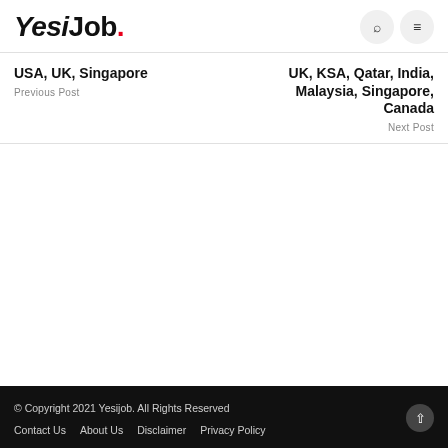YesiJob.
USA, UK, Singapore
Previous Post
UK, KSA, Qatar, India, Malaysia, Singapore, Canada
Next Post
© Copyright 2021 Yesijob. All Rights Reserved
Contact Us   About Us   Disclaimer   Privacy Policy